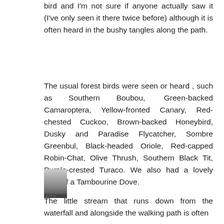bird and I'm not sure if anyone actually saw it (I've only seen it there twice before) although it is often heard in the bushy tangles along the path.
The usual forest birds were seen or heard , such as Southern Boubou, Green-backed Camaroptera, Yellow-fronted Canary, Red-chested Cuckoo, Brown-backed Honeybird, Dusky and Paradise Flycatcher, Sombre Greenbul, Black-headed Oriole, Red-capped Robin-Chat, Olive Thrush, Southern Black Tit, Purple-crested Turaco. We also had a lovely view of a Tambourine Dove.
[Figure (photo): Small thumbnail photograph partially visible, appears to be a grayscale or muted image of a bird or nature scene.]
The little stream that runs down from the waterfall and alongside the walking path is often